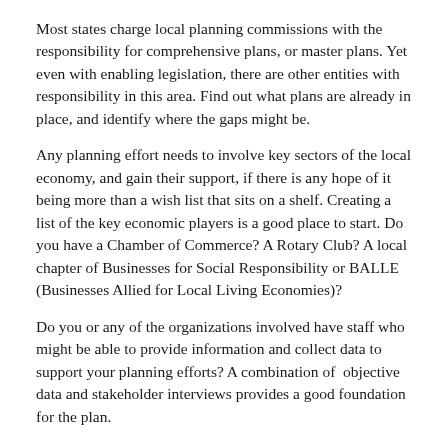Most states charge local planning commissions with the responsibility for comprehensive plans, or master plans. Yet even with enabling legislation, there are other entities with responsibility in this area. Find out what plans are already in place, and identify where the gaps might be.
Any planning effort needs to involve key sectors of the local economy, and gain their support, if there is any hope of it being more than a wish list that sits on a shelf. Creating a list of the key economic players is a good place to start. Do you have a Chamber of Commerce? A Rotary Club? A local chapter of Businesses for Social Responsibility or BALLE (Businesses Allied for Local Living Economies)?
Do you or any of the organizations involved have staff who might be able to provide information and collect data to support your planning efforts? A combination of objective data and stakeholder interviews provides a good foundation for the plan.
All businesses and economic organizations are not created equal. Some bring income and wealth into the local economy, some recycle income that is already there, and some siphon off